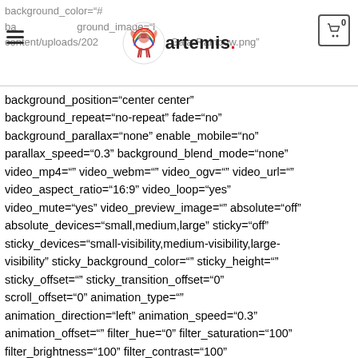background_color="# background_image="l artemis. emisgaia.com/v 0 content/uploads/202 Gaia-Rainbow.png"
background_position="center center" background_repeat="no-repeat" fade="no" background_parallax="none" enable_mobile="no" parallax_speed="0.3" background_blend_mode="none" video_mp4="" video_webm="" video_ogv="" video_url="" video_aspect_ratio="16:9" video_loop="yes" video_mute="yes" video_preview_image="" absolute="off" absolute_devices="small,medium,large" sticky="off" sticky_devices="small-visibility,medium-visibility,large-visibility" sticky_background_color="" sticky_height="" sticky_offset="" sticky_transition_offset="0" scroll_offset="0" animation_type="" animation_direction="left" animation_speed="0.3" animation_offset="" filter_hue="0" filter_saturation="100" filter_brightness="100" filter_contrast="100"